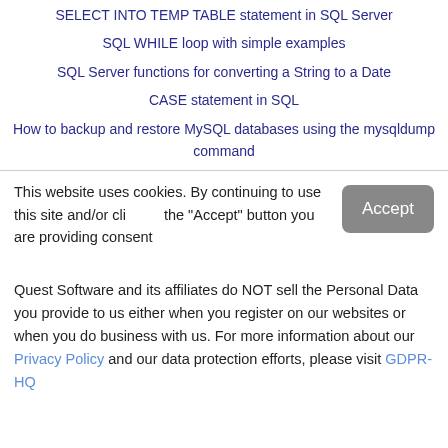SELECT INTO TEMP TABLE statement in SQL Server
SQL WHILE loop with simple examples
SQL Server functions for converting a String to a Date
CASE statement in SQL
How to backup and restore MySQL databases using the mysqldump command
This website uses cookies. By continuing to use this site and/or clicking the "Accept" button you are providing consent
Quest Software and its affiliates do NOT sell the Personal Data you provide to us either when you register on our websites or when you do business with us. For more information about our Privacy Policy and our data protection efforts, please visit GDPR-HQ